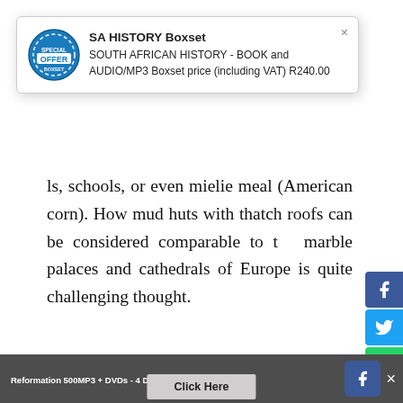[Figure (screenshot): Popup advertisement for SA HISTORY Boxset showing an OFFER badge/stamp icon, title 'SA HISTORY Boxset', description 'SOUTH AFRICAN HISTORY - BOOK and AUDIO/MP3 Boxset price (including VAT) R240.00', with a close X button]
ls, schools, or even mielie meal (American corn). How mud huts with thatch roofs can be considered comparable to the marble palaces and cathedrals of Europe is quite a challenging thought.
JUSTICE AND SECURITY
Which of us would have liked to have lived in any of these countries before the Gospel came? Every cultur...
[Figure (screenshot): Social media sharing sidebar with Facebook, Twitter, WhatsApp, Messenger, Google+, Pinterest, and more buttons]
Reformation 500MP3 + DVDs - 4 Disc Boxset: R220. Click Here